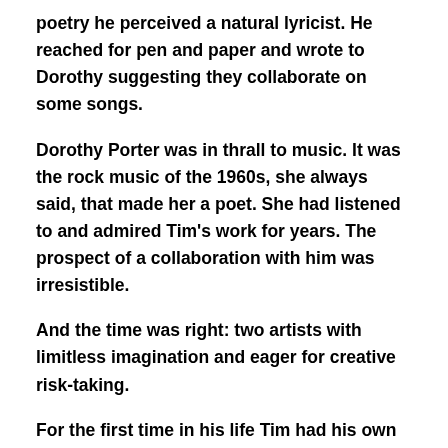poetry he perceived a natural lyricist. He reached for pen and paper and wrote to Dorothy suggesting they collaborate on some songs.
Dorothy Porter was in thrall to music. It was the rock music of the 1960s, she always said, that made her a poet. She had listened to and admired Tim’s work for years. The prospect of a collaboration with him was irresistible.
And the time was right: two artists with limitless imagination and eager for creative risk-taking.
For the first time in his life Tim had his own studio. Located in the Melbourne suburb of Caulfield, he was in an exploratory phase, extending his musical boundaries into strange and new territory. While his focus during